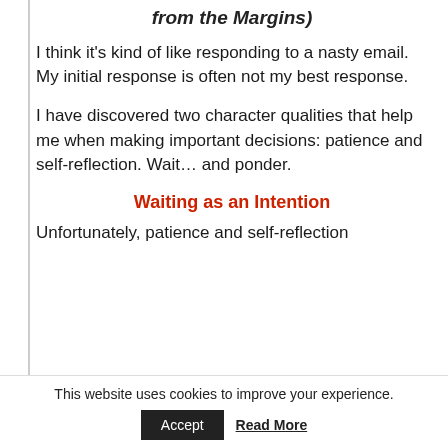from the Margins)
I think it's kind of like responding to a nasty email. My initial response is often not my best response.
I have discovered two character qualities that help me when making important decisions: patience and self-reflection. Wait… and ponder.
Waiting as an Intention
Unfortunately, patience and self-reflection
This website uses cookies to improve your experience.
Accept   Read More